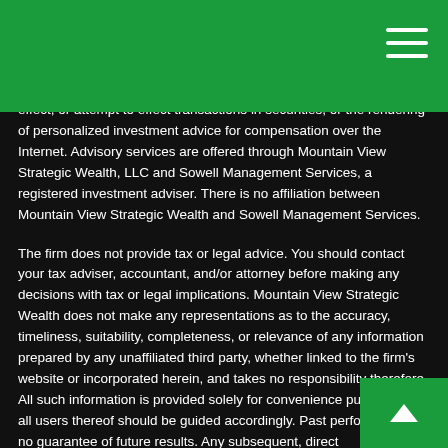effect, or attempt to effect transactions in securities, or the rendering of personalized investment advice for compensation over the Internet. Advisory services are offered through Mountain View Strategic Wealth, LLC and Sowell Management Services, a registered investment adviser. There is no affiliation between Mountain View Strategic Wealth and Sowell Management Services.
The firm does not provide tax or legal advice. You should contact your tax adviser, accountant, and/or attorney before making any decisions with tax or legal implications. Mountain View Strategic Wealth does not make any representations as to the accuracy, timeliness, suitability, completeness, or relevance of any information prepared by any unaffiliated third party, whether linked to the firm's website or incorporated herein, and takes no responsibility therefore. All such information is provided solely for convenience purposes and all users thereof should be guided accordingly. Past performance in no guarantee of future results. Any subsequent, direct communication by Mountain View Strategic Wealth with a prospective client shall be conducted by a representative that is either registered or qualifies for an exemption or exclusion from registration in the state where the prospective client resides.